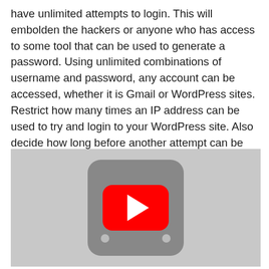have unlimited attempts to login. This will embolden the hackers or anyone who has access to some tool that can be used to generate a password. Using unlimited combinations of username and password, any account can be accessed, whether it is Gmail or WordPress sites. Restrict how many times an IP address can be used to try and login to your WordPress site. Also decide how long before another attempt can be made from that same IP address. Have notification systems as well for any successful login attempt.
[Figure (screenshot): YouTube video embed placeholder showing a gray background with a YouTube play button (red rounded rectangle with white triangle) and a partially visible camera/device icon above it.]